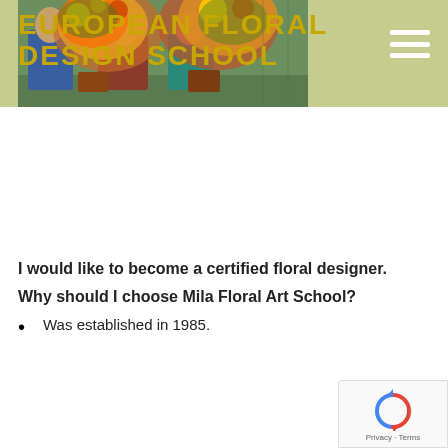[Figure (photo): Header banner with sage green background. Left portion shows a photo of people holding large colorful floral arrangements. Right portion is plain sage/olive green with a hamburger menu icon in white.]
EUROPEAN FLORAL DESIGN SCHOOL
I would like to become a certified floral designer.
Why should I choose Mila Floral Art School?
Was established in 1985.